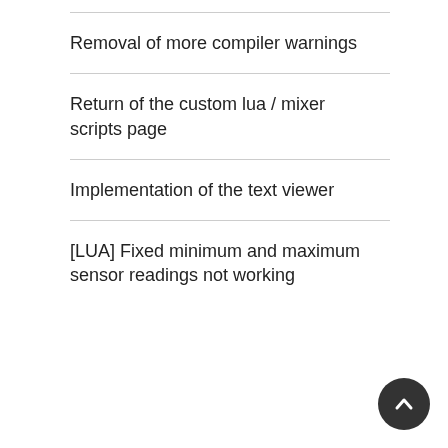Removal of more compiler warnings
Return of the custom lua / mixer scripts page
Implementation of the text viewer
[LUA] Fixed minimum and maximum sensor readings not working